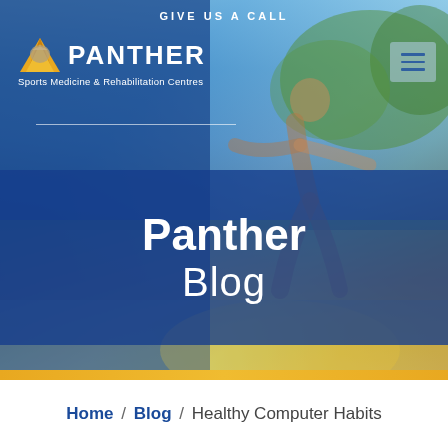GIVE US A CALL
[Figure (screenshot): Panther Sports Medicine & Rehabilitation Centres website hero section showing a runner outdoors with blue overlay and 'Panther Blog' text banner]
Panther Blog
Home / Blog / Healthy Computer Habits